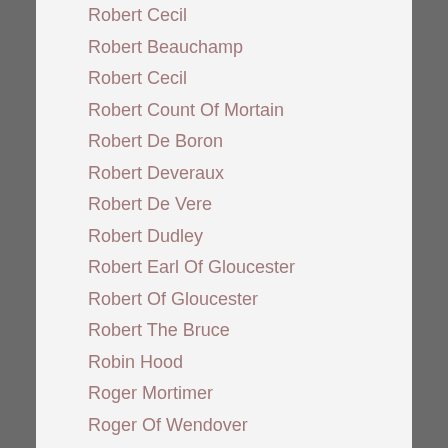Robert Cecil
Robert Beauchamp
Robert Cecil
Robert Count Of Mortain
Robert De Boron
Robert Deveraux
Robert De Vere
Robert Dudley
Robert Earl Of Gloucester
Robert Of Gloucester
Robert The Bruce
Robin Hood
Roger Mortimer
Roger Of Wendover
Rogues
Rogues And Rascals Pirates And Highwaymen
Roman/Greek Gods
Rome
Royal Air Force
Royal Dal…